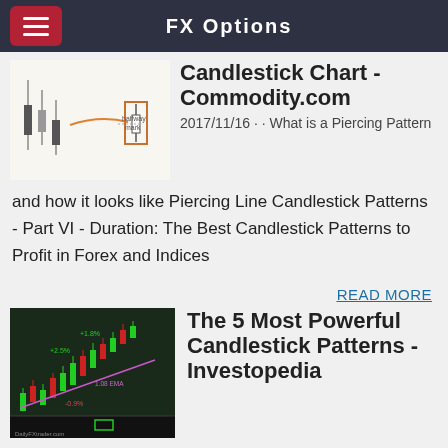FX Options
[Figure (screenshot): Candlestick chart thumbnail showing a piercing pattern with halfway mark annotation]
Candlestick Chart - Commodity.com
2017/11/16 · · What is a Piercing Pattern and how it looks like Piercing Line Candlestick Patterns - Part VI - Duration: The Best Candlestick Patterns to Profit in Forex and Indices
READ MORE
[Figure (screenshot): Candlestick chart thumbnail from DailyFX showing red and green candlestick patterns with trend line]
The 5 Most Powerful Candlestick Patterns - Investopedia
2020/03/23 · The 5 Most Powerful Candlestick Patterns. FACEBOOK TWITTER The piercing pattern is a two-day candle pattern that implies a potential reversal from a …